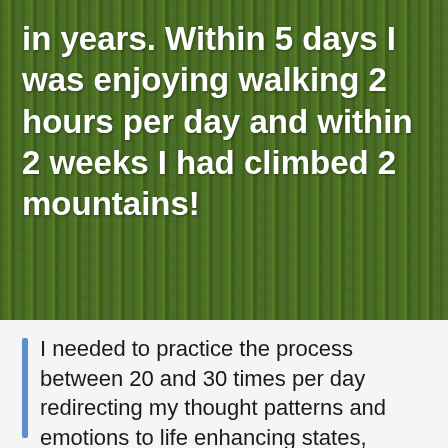in years. Within 5 days I was enjoying walking 2 hours per day and within 2 weeks I had climbed 2 mountains!
I needed to practice the process between 20 and 30 times per day redirecting my thought patterns and emotions to life enhancing states, blissful relaxation and profound solid confidence as well as deep grounded energy were transforming my physiology before my very eyes. I could hardly believe